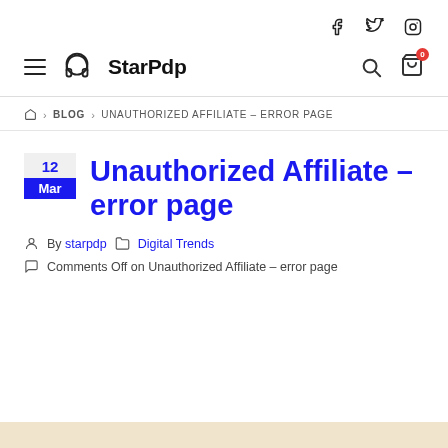Social icons: Facebook, Twitter, Instagram
StarPdp — navigation bar with hamburger menu, logo, search and cart icons
Home > BLOG > UNAUTHORIZED AFFILIATE – ERROR PAGE
Unauthorized Affiliate – error page
By starpdp   Digital Trends
Comments Off on Unauthorized Affiliate – error page